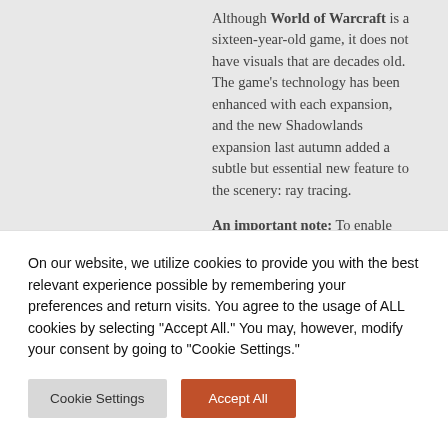Although World of Warcraft is a sixteen-year-old game, it does not have visuals that are decades old. The game's technology has been enhanced with each expansion, and the new Shadowlands expansion last autumn added a subtle but essential new feature to the scenery: ray tracing.
An important note: To enable ray tracing in World of Warcraft, your
On our website, we utilize cookies to provide you with the best relevant experience possible by remembering your preferences and return visits. You agree to the usage of ALL cookies by selecting "Accept All." You may, however, modify your consent by going to "Cookie Settings."